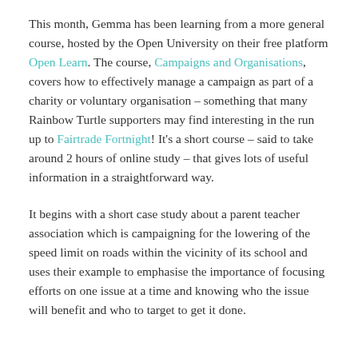This month, Gemma has been learning from a more general course, hosted by the Open University on their free platform Open Learn. The course, Campaigns and Organisations, covers how to effectively manage a campaign as part of a charity or voluntary organisation – something that many Rainbow Turtle supporters may find interesting in the run up to Fairtrade Fortnight! It's a short course – said to take around 2 hours of online study – that gives lots of useful information in a straightforward way.
It begins with a short case study about a parent teacher association which is campaigning for the lowering of the speed limit on roads within the vicinity of its school and uses their example to emphasise the importance of focusing efforts on one issue at a time and knowing who the issue will benefit and who to target to get it done.